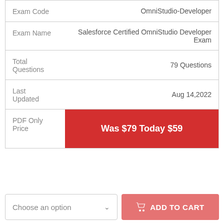|  |  |
| --- | --- |
| Exam Code | OmniStudio-Developer |
| Exam Name | Salesforce Certified OmniStudio Developer Exam |
| Total Questions | 79 Questions |
| Last Updated | Aug 14,2022 |
| PDF Only Price | Was $79 Today $59 |
Choose an option
ADD TO CART